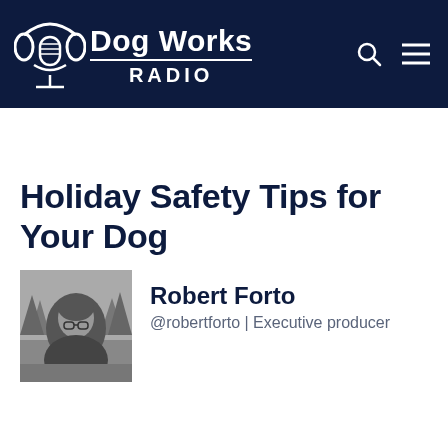[Figure (logo): Dog Works Radio logo with headphones and microphone icon, white on dark navy background, with search and menu icons on the right]
Holiday Safety Tips for Your Dog
[Figure (photo): Black and white photo of Robert Forto, a person wearing glasses outdoors with trees in background]
Robert Forto
@robertforto | Executive producer